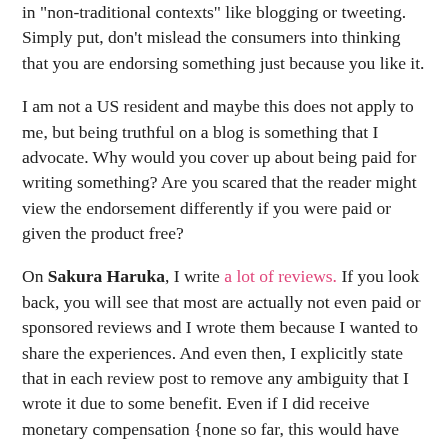in "non-traditional contexts" like blogging or tweeting. Simply put, don't mislead the consumers into thinking that you are endorsing something just because you like it.
I am not a US resident and maybe this does not apply to me, but being truthful on a blog is something that I advocate. Why would you cover up about being paid for writing something? Are you scared that the reader might view the endorsement differently if you were paid or given the product free?
On Sakura Haruka, I write a lot of reviews. If you look back, you will see that most are actually not even paid or sponsored reviews and I wrote them because I wanted to share the experiences. And even then, I explicitly state that in each review post to remove any ambiguity that I wrote it due to some benefit. Even if I did receive monetary compensation {none so far, this would have been my first} or the product free, I would write an honest review about it. Because that is how I stay true to myself and my blog.
I thought about the request from the company to remove the